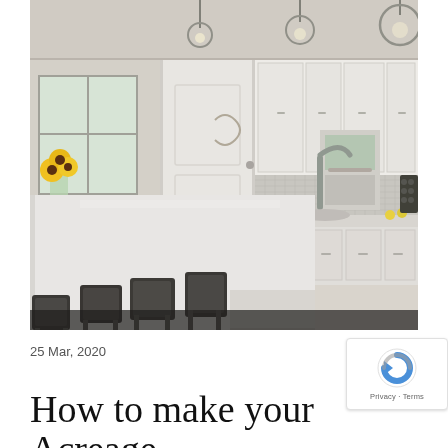[Figure (photo): Interior photo of a modern white kitchen with a large island featuring dark leather bar stools, pendant lights hanging from ceiling, white cabinets, stainless steel sink, mosaic tile backsplash, and sunflowers visible in background dining area]
25 Mar, 2020
How to make your Acreage